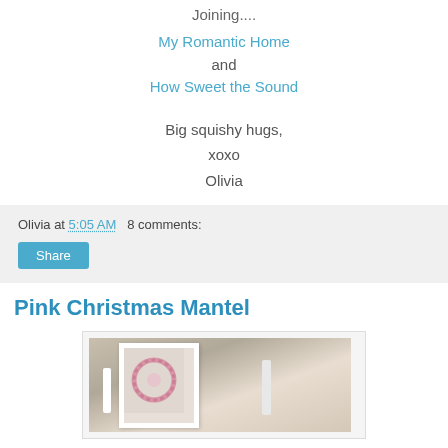Joining....
My Romantic Home
and
How Sweet the Sound
Big squishy hugs,
xoxo
Olivia
Olivia at 5:05 AM   8 comments:
Share
Pink Christmas Mantel
[Figure (photo): Photo of a pink Christmas mantel with a white framed artwork and a pink wreath, candles visible]